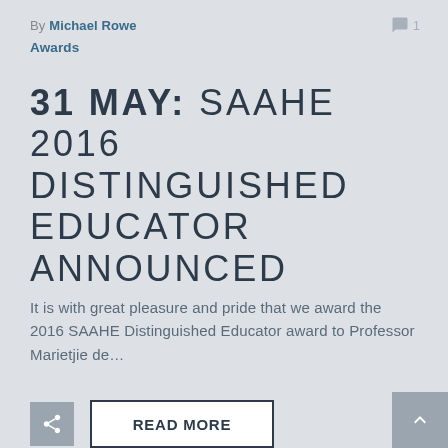By Michael Rowe
💬 1
Awards
31 MAY: SAAHE 2016 DISTINGUISHED EDUCATOR ANNOUNCED
It is with great pleasure and pride that we award the 2016 SAAHE Distinguished Educator award to Professor Marietjie de…
READ MORE